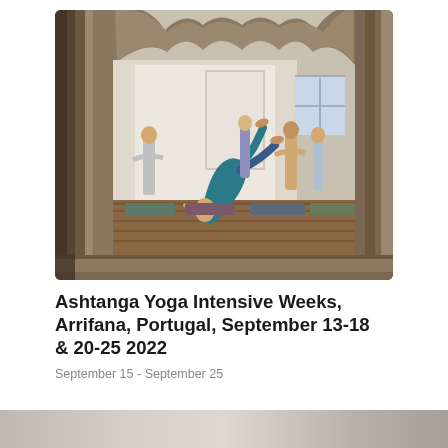[Figure (photo): A yoga class photographed through a decorative arched stone doorway. In the foreground is the ornate arch with rough stone sides. Through the arch, a yoga student in blue/teal clothing performs a deep forward bend with head nearly touching the floor, while other practitioners are visible in the background in a warm wooden-floored studio.]
Ashtanga Yoga Intensive Weeks, Arrifana, Portugal, September 13-18 & 20-25 2022
September 15 - September 25